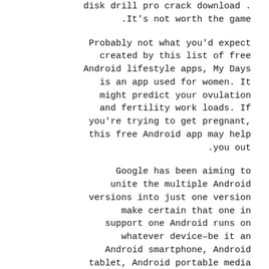disk drill pro crack download . .It's not worth the game
Probably not what you'd expect created by this list of free Android lifestyle apps, My Days is an app used for women. It might predict your ovulation and fertility work loads. If you're trying to get pregnant, this free Android app may help .you out
Google has been aiming to unite the multiple Android versions into just one version make certain that one in support one Android runs on whatever device–be it an Android smartphone, Android tablet, Android portable media player, Android TV, Android watch, or wherever else the little green robot can make